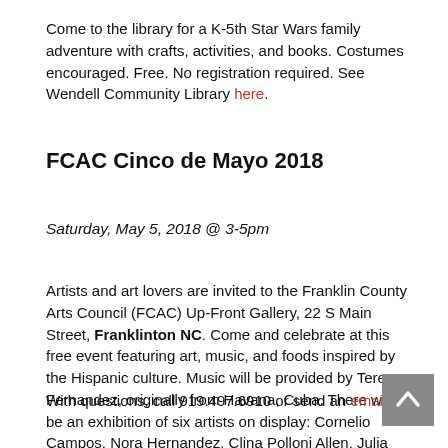Come to the library for a K-5th Star Wars family adventure with crafts, activities, and books. Costumes encouraged. Free. No registration required. See Wendell Community Library here.
FCAC Cinco de Mayo 2018
Saturday, May 5, 2018 @ 3-5pm
Artists and art lovers are invited to the Franklin County Arts Council (FCAC) Up-Front Gallery, 22 S Main Street, Franklinton NC. Come and celebrate at this free event featuring art, music, and foods inspired by the Hispanic culture. Music will be provided by Teresa Fernandez, originally from Havana, Cuba. There will be an exhibition of six artists on display: Cornelio Campos, Nora Hernandez, Clina Polloni Allen, Julia Polloni Vick, Aaron Vick, and Gabriella Zabala.
With questions, call 919.497.6910 or send an email.